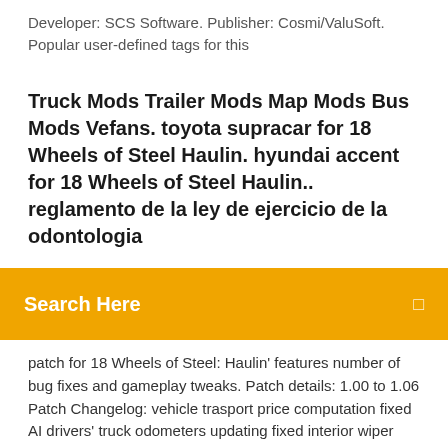Developer: SCS Software. Publisher: Cosmi/ValuSoft. Popular user-defined tags for this
Truck Mods Trailer Mods Map Mods Bus Mods Vefans. toyota supracar for 18 Wheels of Steel Haulin. hyundai accent for 18 Wheels of Steel Haulin.. reglamento de la ley de ejercicio de la odontologia
Search Here
patch for 18 Wheels of Steel: Haulin' features number of bug fixes and gameplay tweaks. Patch details: 1.00 to 1.06 Patch Changelog: vehicle trasport price computation fixed AI drivers' truck odometers updating fixed interior wiper animation handling fixed delivery bonus corrected crash during trailer storing fixed missing decal builder data for road transitions fixed ai crashing 18 Wheels Of Steel: Haulin' Cheats, Codes, Cheat … The best place to get cheats, codes, cheat codes, walkthrough, guide, FAQ, unlockables, tricks, and secrets for 18 Wheels Of Steel: Haulin' for PC. Mods v3 – Para 18 wheels of steel Haulin -